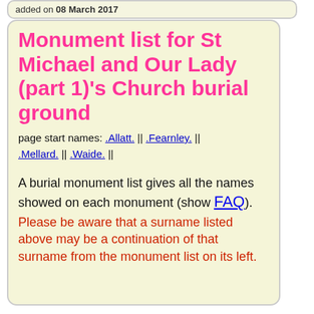added on 08 March 2017
Monument list for St Michael and Our Lady (part 1)'s Church burial ground
page start names: .Allatt. || .Fearnley. || .Mellard. || .Waide. ||
A burial monument list gives all the names showed on each monument (show FAQ). Please be aware that a surname listed above may be a continuation of that surname from the monument list on its left.